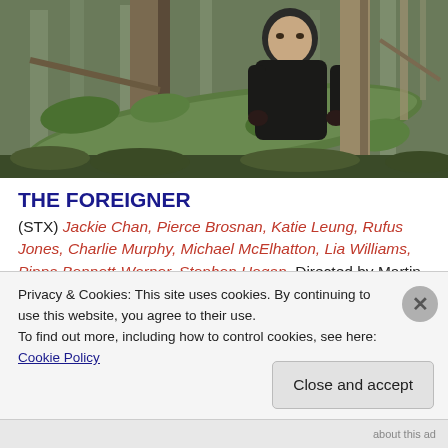[Figure (photo): A man in a dark jacket crouches behind a large moss-covered tree trunk in a forest, peering forward intently. Forest scene with bare trees in background.]
THE FOREIGNER
(STX) Jackie Chan, Pierce Brosnan, Katie Leung, Rufus Jones, Charlie Murphy, Michael McElhatton, Lia Williams, Pippa Bennett-Warner, Stephen Hogan. Directed by Martin
Privacy & Cookies: This site uses cookies. By continuing to use this website, you agree to their use.
To find out more, including how to control cookies, see here: Cookie Policy
Close and accept